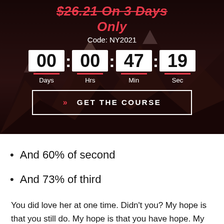$26.21 On 3 Days Only
Code: NY2021
[Figure (infographic): Countdown timer showing 00 Days : 00 Hrs : 47 Min : 19 Sec with red underlines beneath each number and a 'GET THE COURSE' CTA button]
And 60% of second
And 73% of third
You did love her at one time. Didn't you? My hope is that you still do. My hope is that you have hope. My hope is that I'm not too late in sharing this information with you. It's within your